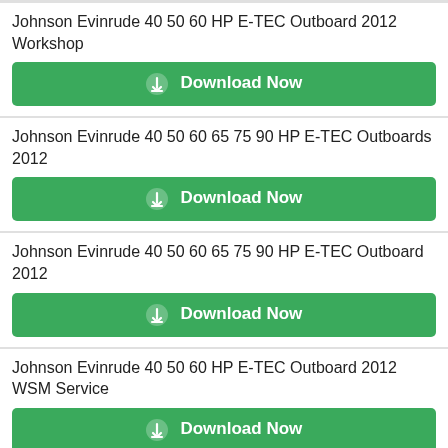Johnson Evinrude 40 50 60 HP E-TEC Outboard 2012 Workshop
[Figure (other): Download Now button (green)]
Johnson Evinrude 40 50 60 65 75 90 HP E-TEC Outboards 2012
[Figure (other): Download Now button (green)]
Johnson Evinrude 40 50 60 65 75 90 HP E-TEC Outboard 2012
[Figure (other): Download Now button (green)]
Johnson Evinrude 40 50 60 HP E-TEC Outboard 2012 WSM Service
[Figure (other): Download Now button (green)]